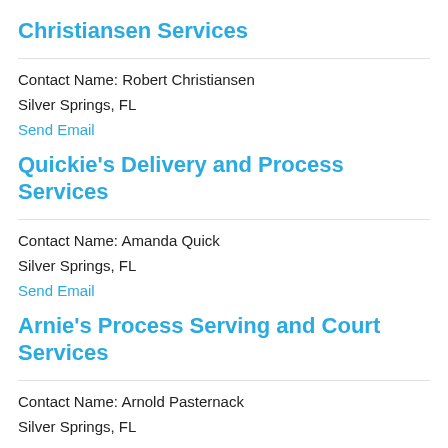Christiansen Services
Contact Name: Robert Christiansen
Silver Springs, FL
Send Email
Quickie's Delivery and Process Services
Contact Name: Amanda Quick
Silver Springs, FL
Send Email
Arnie's Process Serving and Court Services
Contact Name: Arnold Pasternack
Silver Springs, FL